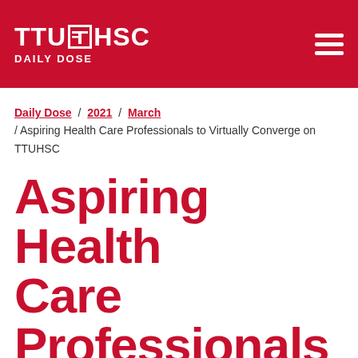TTUHSC Daily Dose
Daily Dose / 2021 / March / Aspiring Health Care Professionals to Virtually Converge on TTUHSC
Aspiring Health Care Professionals to Virtually Converge on